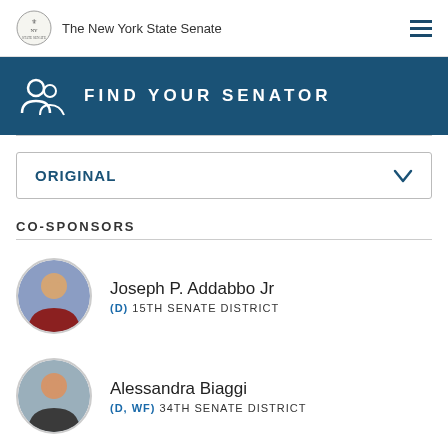The New York State Senate
FIND YOUR SENATOR
ORIGINAL
CO-SPONSORS
Joseph P. Addabbo Jr
(D) 15TH SENATE DISTRICT
Alessandra Biaggi
(D, WF) 34TH SENATE DISTRICT